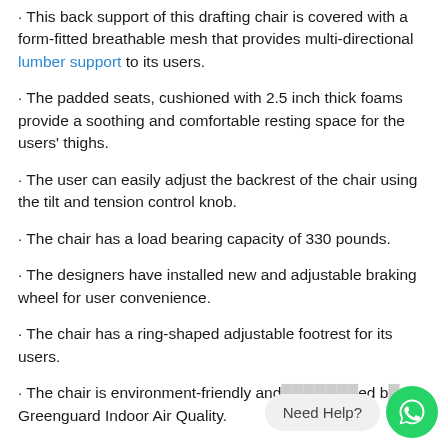· This back support of this drafting chair is covered with a form-fitted breathable mesh that provides multi-directional lumber support to its users.
· The padded seats, cushioned with 2.5 inch thick foams provide a soothing and comfortable resting space for the users' thighs.
· The user can easily adjust the backrest of the chair using the tilt and tension control knob.
· The chair has a load bearing capacity of 330 pounds.
· The designers have installed new and adjustable braking wheel for user convenience.
· The chair has a ring-shaped adjustable footrest for its users.
· The chair is environment-friendly and ...ed b... Greenguard Indoor Air Quality.